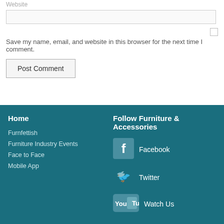Website
Save my name, email, and website in this browser for the next time I comment.
Post Comment
Home
Furnfettish
Furniture Industry Events
Face to Face
Mobile App
Follow Furniture & Accessories
Facebook
Twitter
Watch Us